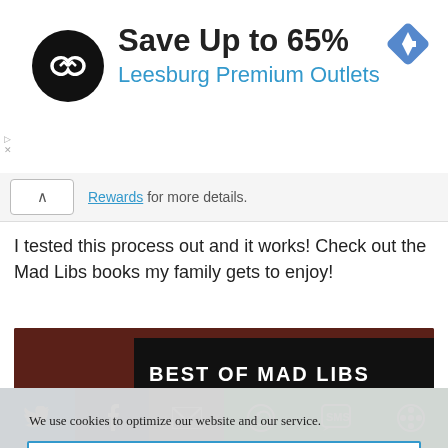[Figure (screenshot): Advertisement banner: circular black logo with infinity-like arrow icon, text 'Save Up to 65%' and 'Leesburg Premium Outlets' in blue, blue diamond navigation icon top right]
Rewards for more details.
I tested this process out and it works! Check out the Mad Libs books my family gets to enjoy!
[Figure (photo): Photo of Mad Libs books: 'Best of Mad Libs' black cover and 'World Mad Libs' visible, purple crown sticker]
We use cookies to optimize our website and our service.
Accept
[Figure (screenshot): Social share bar with Twitter, Facebook, email, WhatsApp, SMS, and other share buttons]